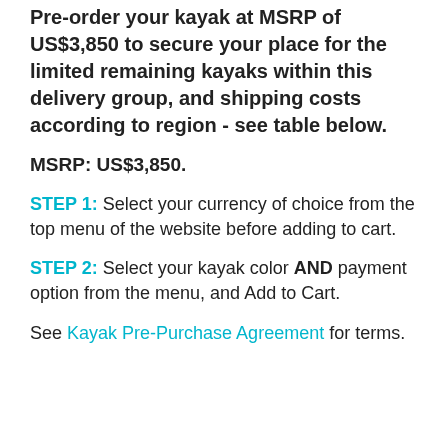Pre-order your kayak at MSRP of US$3,850 to secure your place for the limited remaining kayaks within this delivery group, and shipping costs according to region - see table below.
MSRP: US$3,850.
STEP 1: Select your currency of choice from the top menu of the website before adding to cart.
STEP 2: Select your kayak color AND payment option from the menu, and Add to Cart.
See Kayak Pre-Purchase Agreement for terms.